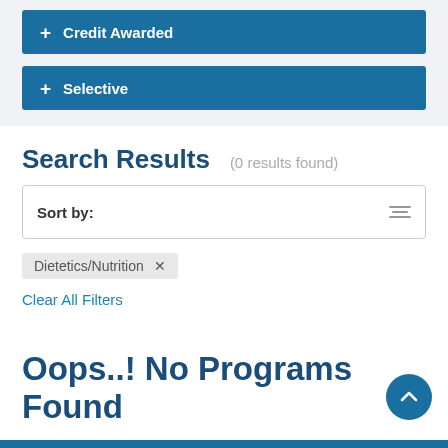+ Credit Awarded
+ Selective
Search Results  (0 results found)
Sort by:
Dietetics/Nutrition ×
Clear All Filters
Oops..! No Programs Found